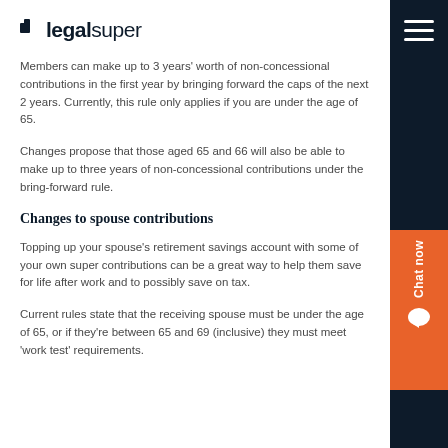legalsuper
Members can make up to 3 years' worth of non-concessional contributions in the first year by bringing forward the caps of the next 2 years. Currently, this rule only applies if you are under the age of 65.
Changes propose that those aged 65 and 66 will also be able to make up to three years of non-concessional contributions under the bring-forward rule.
Changes to spouse contributions
Topping up your spouse's retirement savings account with some of your own super contributions can be a great way to help them save for life after work and to possibly save on tax.
Current rules state that the receiving spouse must be under the age of 65, or if they're between 65 and 69 (inclusive) they must meet 'work test' requirements.